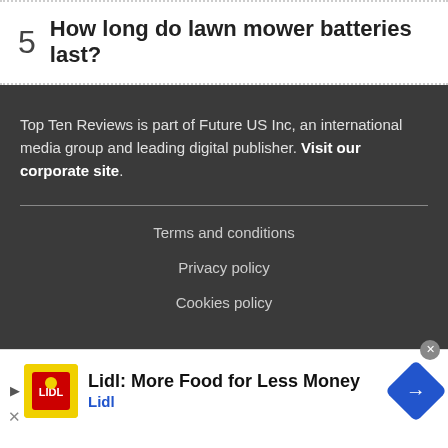5   How long do lawn mower batteries last?
Top Ten Reviews is part of Future US Inc, an international media group and leading digital publisher. Visit our corporate site.
Terms and conditions
Privacy policy
Cookies policy
[Figure (infographic): Advertisement banner for Lidl: 'Lidl: More Food for Less Money' with Lidl logo and navigation icon]